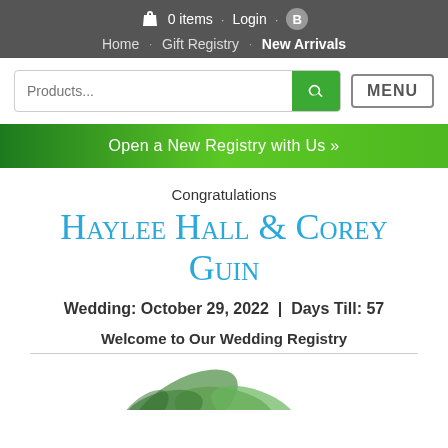0 items · Login · B
Home · Gift Registry · New Arrivals
Products... [search] MENU
Open a New Registry with Us »
Congratulations
Haylee Hall & Corey Guin
Wedding: October 29, 2022  |  Days Till: 57
Welcome to Our Wedding Registry
[Figure (photo): Decorative floral/greenery image at bottom of page]